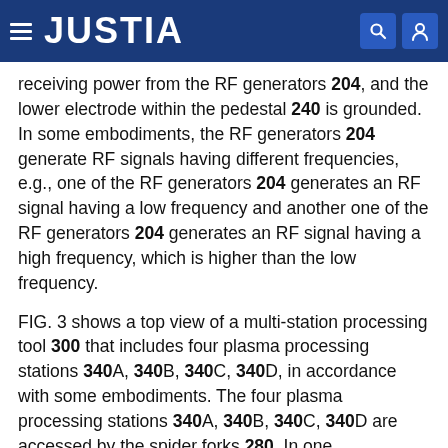JUSTIA
receiving power from the RF generators 204, and the lower electrode within the pedestal 240 is grounded. In some embodiments, the RF generators 204 generate RF signals having different frequencies, e.g., one of the RF generators 204 generates an RF signal having a low frequency and another one of the RF generators 204 generates an RF signal having a high frequency, which is higher than the low frequency.
FIG. 3 shows a top view of a multi-station processing tool 300 that includes four plasma processing stations 340A, 340B, 340C, 340D, in accordance with some embodiments. The four plasma processing stations 340A, 340B, 340C, 340D are accessed by the spider forks 280. In one embodiment, there is no isolation wall or other mechanism to isolate one station from another. Each spider fork 280 includes a first and second arm,